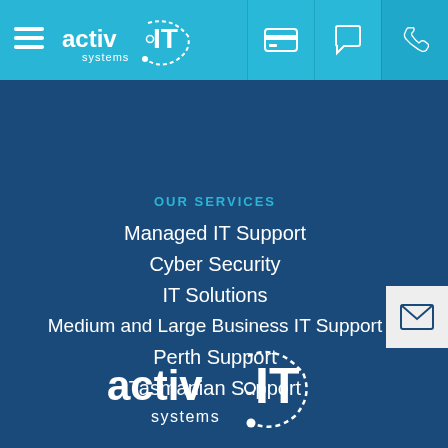activ IT systems — navigation bar with hamburger menu, logo, credit card icon, chat icon, phone icon
OUR SERVICES
Managed IT Support
Cyber Security
IT Solutions
Medium and Large Business IT Support
Perth Support
Tasmanian Support
[Figure (logo): activ IT systems logo — white text with circle dot graphic, footer version]
[Figure (logo): activ IT systems logo — white text with circle dot graphic, header version]